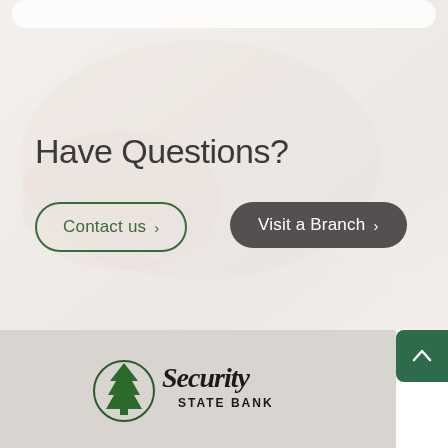[Figure (photo): Hero background: blurred photo of hands writing/working with overlaid network/technology graphic elements (lines, icons, connected nodes) in muted pink-grey tones]
Have Questions?
Contact us >
Visit a Branch >
[Figure (logo): Security State Bank logo: circular pine tree emblem with 'Security' in script font and 'STATE BANK' in block letters below]